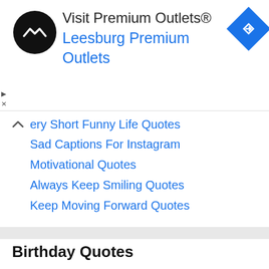[Figure (screenshot): Ad banner for Visit Premium Outlets® with black circular logo with arrow icon, text 'Visit Premium Outlets®' and 'Leesburg Premium Outlets' in blue, and a blue diamond navigation icon on the right. Small 'play' and 'X' icons on the left edge.]
ery Short Funny Life Quotes
Sad Captions For Instagram
Motivational Quotes
Always Keep Smiling Quotes
Keep Moving Forward Quotes
Birthday Quotes
1st Birthday Wishes
2nd Birthday Wishes
3rd Birthday Wishes